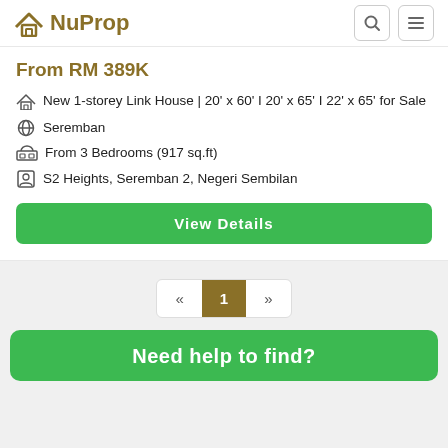NuProp
From RM 389K
New 1-storey Link House | 20' x 60' I 20' x 65' I 22' x 65' for Sale
Seremban
From 3 Bedrooms (917 sq.ft)
S2 Heights, Seremban 2, Negeri Sembilan
View Details
« 1 »
Need help to find?